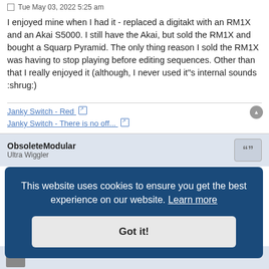Re: Yamaha RM1x - anyone still using it?
Tue May 03, 2022 5:25 am
I enjoyed mine when I had it - replaced a digitakt with an RM1X and an Akai S5000. I still have the Akai, but sold the RM1X and bought a Squarp Pyramid. The only thing reason I sold the RM1X was having to stop playing before editing sequences. Other than that I really enjoyed it (although, I never used it"s internal sounds :shrug:)
Janky Switch - Red ↗
Janky Switch - There is no off... ↗
ObsoleteModular
Ultra Wiggler
Re: Yamaha RM1x - anyone still using it?
This website uses cookies to ensure you get the best experience on our website. Learn more
Got it!